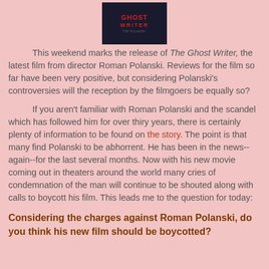[Figure (photo): Movie poster for The Ghost Writer, dark background with red text]
This weekend marks the release of The Ghost Writer, the latest film from director Roman Polanski. Reviews for the film so far have been very positive, but considering Polanski's controversies will the reception by the filmgoers be equally so?
If you aren't familiar with Roman Polanski and the scandel which has followed him for over thiry years, there is certainly plenty of information to be found on the story. The point is that many find Polanski to be abhorrent. He has been in the news--again--for the last several months. Now with his new movie coming out in theaters around the world many cries of condemnation of the man will continue to be shouted along with calls to boycott his film. This leads me to the question for today:
Considering the charges against Roman Polanski, do you think his new film should be boycotted?